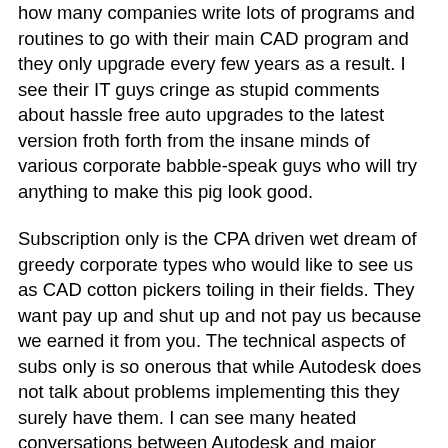how many companies write lots of programs and routines to go with their main CAD program and they only upgrade every few years as a result. I see their IT guys cringe as stupid comments about hassle free auto upgrades to the latest version froth forth from the insane minds of various corporate babble-speak guys who will try anything to make this pig look good.
Subscription only is the CPA driven wet dream of greedy corporate types who would like to see us as CAD cotton pickers toiling in their fields. They want pay up and shut up and not pay us because we earned it from you. The technical aspects of subs only is so onerous that while Autodesk does not talk about problems implementing this they surely have them. I can see many heated conversations between Autodesk and major customers who will force a two tier system over time. I think Autodesk